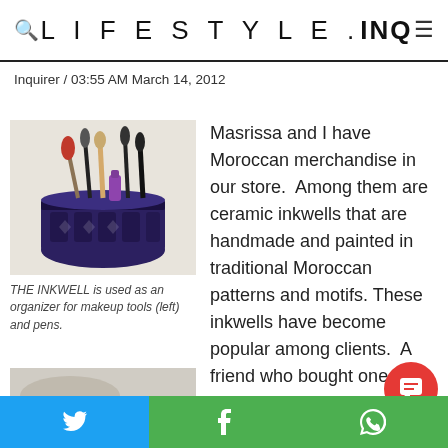LIFESTYLE.INQ
Inquirer / 03:55 AM March 14, 2012
[Figure (photo): Moroccan ceramic inkwell used as an organizer holding makeup brushes and pens, with blue and white traditional pattern]
THE INKWELL is used as an organizer for makeup tools (left) and pens.
Masrissa and I have Moroccan merchandise in our store.  Among them are ceramic inkwells that are handmade and painted in traditional Moroccan patterns and motifs. These inkwells have become popular among clients.  A friend who bought one a couple of weeks ago urged me to share how this “happy purchase” is versatile and useful.
[Figure (photo): Partial bottom image, another view of the Moroccan item]